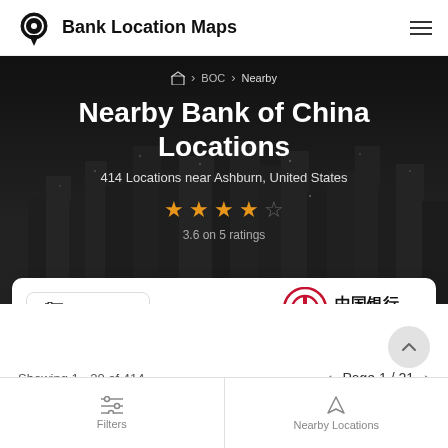Bank Location Maps
Nearby Bank of China Locations
414 Locations near Ashburn, United States
3.6 on 5 ratings
Filters
[Figure (logo): Bank of China logo with Chinese characters 中国银行 and text BANK OF CHINA]
Showing 1 - 20 of 414
Page 1 / 21
Filters  Nearby Locations